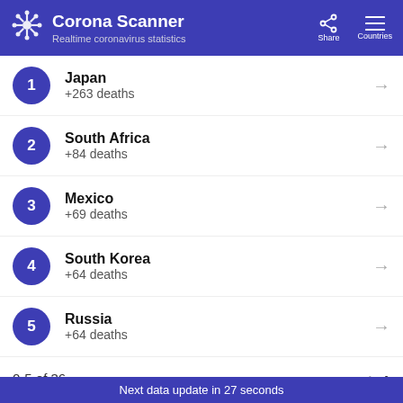Corona Scanner — Realtime coronavirus statistics
1 Japan +263 deaths
2 South Africa +84 deaths
3 Mexico +69 deaths
4 South Korea +64 deaths
5 Russia +64 deaths
0-5 of 36
DAILY NEW RECOVERIES
Japan
Next data update in 27 seconds